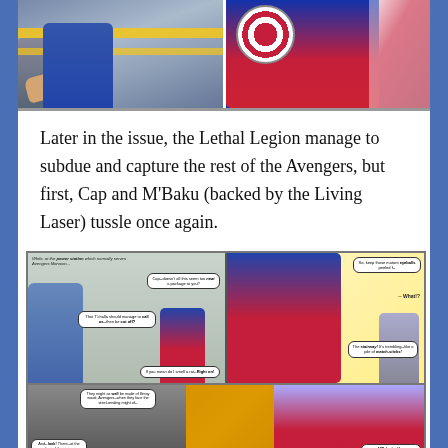[Figure (illustration): Two comic book panels showing close-up action scenes: left panel shows hands/figure with yellow stripes detail, right panel shows Captain America's red, white and blue costume/shield]
Later in the issue, the Lethal Legion manage to subdue and capture the rest of the Avengers, but first, Cap and M'Baku (backed by the Living Laser) tussle once again.
[Figure (illustration): Comic book panels: top-left panel shows figure crouching at power station with speech bubbles: 'While, at the power station which normally serves Avengers Mansion...' 'Cap--doesn't all this seem too neat a package to you?' 'That T'Challa should manage to call us--then be cut off?' 'If you mean do I smell a rat--Right on!'. Top-right panel shows Captain America in action with speech bubbles: 'So, keep those mutant eyeballs peeled f--' 'What!?' 'The stairway! It's trembling--like a pile of match-sticks!'. Bottom panel shows action scene with M'Baku and speech bubbles: 'They might as well be made of flimsy wood, Avengers--when they face the steel-rending might of--' 'And--look! There--at the foot of the stair--' '--M'Baku the Man--' with large 'THR' sound effect lettering]